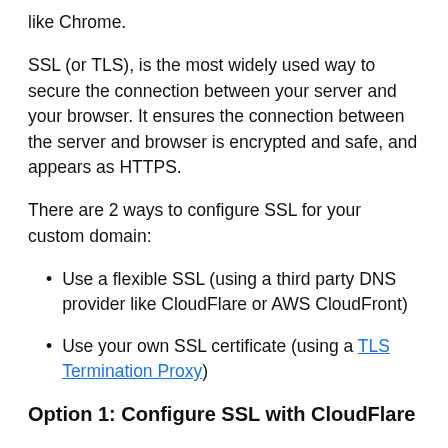like Chrome.
SSL (or TLS), is the most widely used way to secure the connection between your server and your browser. It ensures the connection between the server and browser is encrypted and safe, and appears as HTTPS.
There are 2 ways to configure SSL for your custom domain:
Use a flexible SSL (using a third party DNS provider like CloudFlare or AWS CloudFront)
Use your own SSL certificate (using a TLS Termination Proxy)
Option 1: Configure SSL with CloudFlare